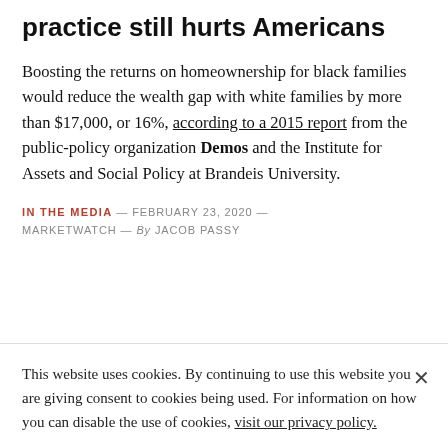practice still hurts Americans
Boosting the returns on homeownership for black families would reduce the wealth gap with white families by more than $17,000, or 16%, according to a 2015 report from the public-policy organization Demos and the Institute for Assets and Social Policy at Brandeis University.
IN THE MEDIA — FEBRUARY 23, 2020 — MARKETWATCH — By JACOB PASSY
This website uses cookies. By continuing to use this website you are giving consent to cookies being used. For information on how you can disable the use of cookies, visit our privacy policy.